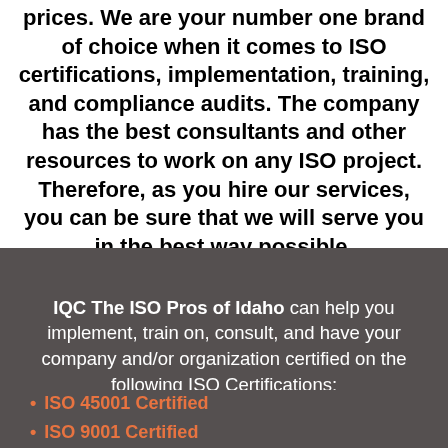prices. We are your number one brand of choice when it comes to ISO certifications, implementation, training, and compliance audits. The company has the best consultants and other resources to work on any ISO project. Therefore, as you hire our services, you can be sure that we will serve you in the best way possible.
IQC The ISO Pros of Idaho can help you implement, train on, consult, and have your company and/or organization certified on the following ISO Certifications:
ISO 45001 Certified
ISO 9001 Certified